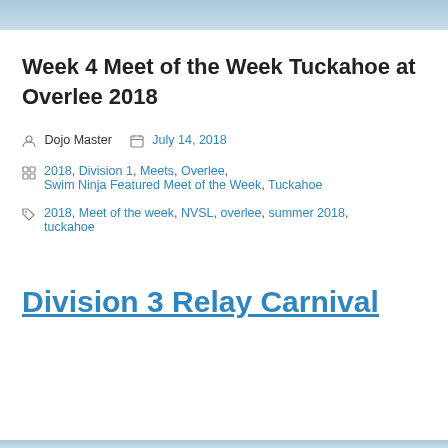[Figure (photo): Top banner image of swimming pool or water, cropped to a thin strip]
Week 4 Meet of the Week Tuckahoe at Overlee 2018
Dojo Master  July 14, 2018
2018, Division 1, Meets, Overlee, Swim Ninja Featured Meet of the Week, Tuckahoe
2018, Meet of the week, NVSL, overlee, summer 2018, tuckahoe
Division 3 Relay Carnival
[Figure (photo): Bottom banner strip of swimming pool or water]